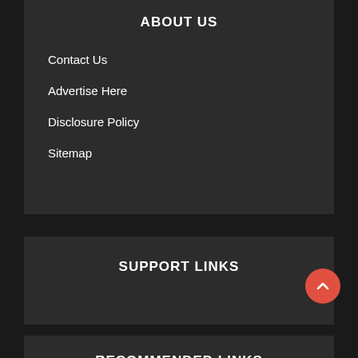ABOUT US
Contact Us
Advertise Here
Disclosure Policy
Sitemap
SUPPORT LINKS
RECOMMENDED LINKS